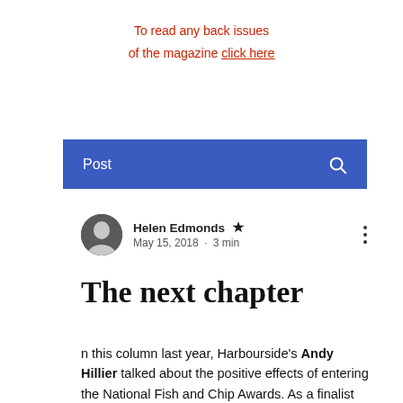To read any back issues of the magazine click here
Post
Helen Edmonds Admin
May 15, 2018 · 3 min
The next chapter
n this column last year, Harbourside's Andy Hillier talked about the positive effects of entering the National Fish and Chip Awards. As a finalist once again in